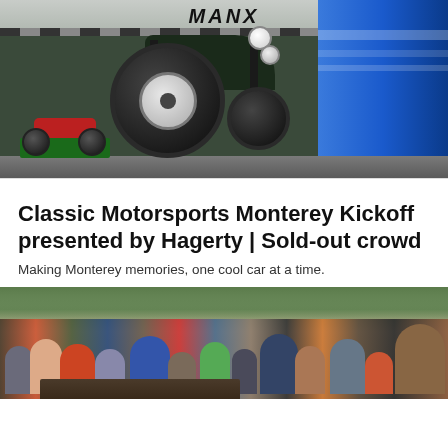[Figure (photo): Dune buggies parked in front of a hangar, with a green/dark colored buggy in the foreground showing large chrome-hubcapped tires, a red and green buggy in the background left, and a blue vehicle on the right. The word 'Manx' is visible on the hangar overhang above.]
Classic Motorsports Monterey Kickoff presented by Hagerty | Sold-out crowd
Making Monterey memories, one cool car at a time.
[Figure (photo): A crowd of people at an outdoor car show event in what appears to be Monterey, with trees and street signs in the background. People are walking around looking at classic cars, dressed in casual attire.]